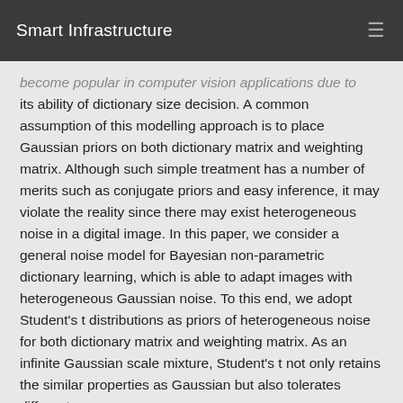Smart Infrastructure
become popular in computer vision applications due to its ability of dictionary size decision. A common assumption of this modelling approach is to place Gaussian priors on both dictionary matrix and weighting matrix. Although such simple treatment has a number of merits such as conjugate priors and easy inference, it may violate the reality since there may exist heterogeneous noise in a digital image. In this paper, we consider a general noise model for Bayesian non-parametric dictionary learning, which is able to adapt images with heterogeneous Gaussian noise. To this end, we adopt Student's t distributions as priors of heterogeneous noise for both dictionary matrix and weighting matrix. As an infinite Gaussian scale mixture, Student's t not only retains the similar properties as Gaussian but also tolerates different